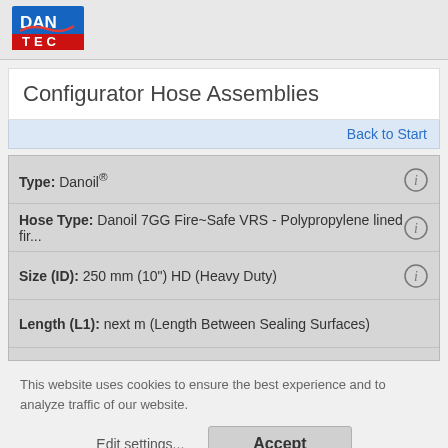[Figure (logo): DAN TEC company logo with blue DAN text and red TEC text on a rectangular badge]
Configurator Hose Assemblies
Back to Start
| Type: Danoil® | ℹ |
| Hose Type: Danoil 7GG Fire~Safe VRS - Polypropylene lined fir... | ℹ |
| Size (ID): 250 mm (10") HD (Heavy Duty) | ℹ |
| Length (L1): next m (Length Between Sealing Surfaces) |  |
This website uses cookies to ensure the best experience and to analyze traffic of our website.
Edit settings...
Accept